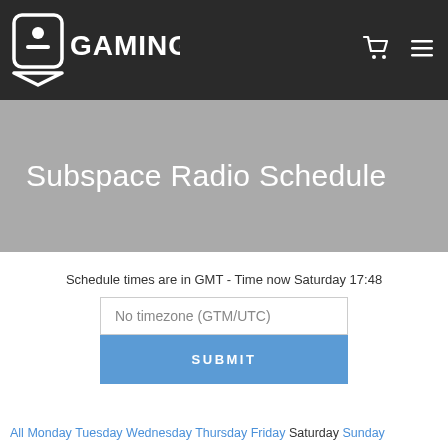GamingNow
Subspace Radio Schedule
Schedule times are in GMT - Time now Saturday 17:48
No timezone (GTM/UTC)
SUBMIT
All Monday Tuesday Wednesday Thursday Friday Saturday Sunday